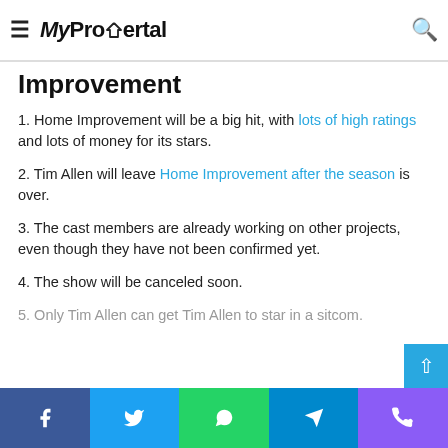MyPropertal
Top 5 Myths About Home Improvement
1. Home Improvement will be a big hit, with lots of high ratings and lots of money for its stars.
2. Tim Allen will leave Home Improvement after the season is over.
3. The cast members are already working on other projects, even though they have not been confirmed yet.
4. The show will be canceled soon.
5. Only Tim Allen can get Tim Allen to star in a sitcom.
Facebook Twitter WhatsApp Telegram Phone